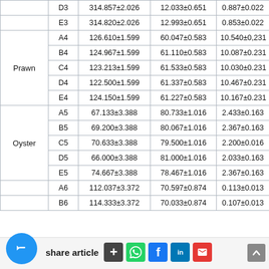| Species | Code | Col1 | Col2 | Col3 |
| --- | --- | --- | --- | --- |
|  | D3 | 314.857±2.026 | 12.033±0.651 | 0.887±0.022 |
|  | E3 | 314.820±2.026 | 12.993±0.651 | 0.853±0.022 |
| Prawn | A4 | 126.610±1.599 | 60.047±0.583 | 10.540±0,231 |
|  | B4 | 124.967±1.599 | 61.110±0.583 | 10.087±0.231 |
|  | C4 | 123.213±1.599 | 61.533±0.583 | 10.030±0.231 |
|  | D4 | 122.500±1.599 | 61.337±0.583 | 10.467±0.231 |
|  | E4 | 124.150±1.599 | 61.227±0.583 | 10.167±0.231 |
| Oyster | A5 | 67.133±3.388 | 80.733±1.016 | 2.433±0.163 |
|  | B5 | 69.200±3.388 | 80.067±1.016 | 2.367±0.163 |
|  | C5 | 70.633±3.388 | 79.500±1.016 | 2.200±0.016 |
|  | D5 | 66.000±3.388 | 81.000±1.016 | 2.033±0.163 |
|  | E5 | 74.667±3.388 | 78.467±1.016 | 2.367±0.163 |
|  | A6 | 112.037±3.372 | 70.597±0.874 | 0.113±0.013 |
|  | B6 | 114.333±3.372 | 70.033±0.874 | 0.107±0.013 |